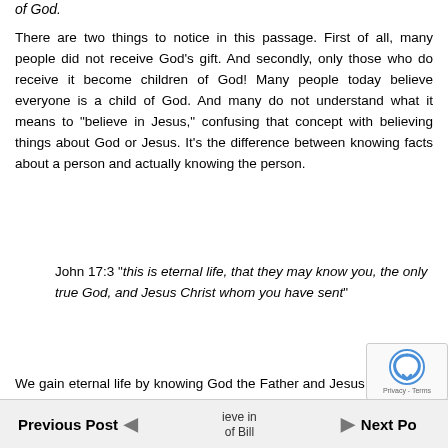of God.
There are two things to notice in this passage. First of all, many people did not receive God's gift. And secondly, only those who do receive it become children of God! Many people today believe everyone is a child of God. And many do not understand what it means to "believe in Jesus," confusing that concept with believing things about God or Jesus. It's the difference between knowing facts about a person and actually knowing the person.
John 17:3 "this is eternal life, that they may know you, the only true God, and Jesus Christ whom you have sent"
We gain eternal life by knowing God the Father and Jesus personally. But what does it mean to believe in of Bill
Previous Post | Next Post